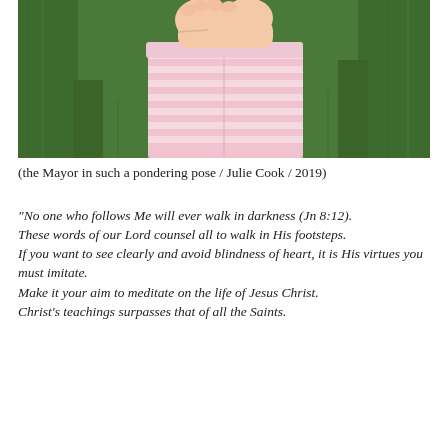[Figure (photo): Close-up photo of a young child wearing pink and white striped shorts, standing on green grass, with hands clasped together at waist level.]
(the Mayor in such a pondering pose / Julie Cook / 2019)
“No one who follows Me will ever walk in darkness (Jn 8:12).
These words of our Lord counsel all to walk in His footsteps.
If you want to see clearly and avoid blindness of heart, it is His virtues you must imitate.
Make it your aim to meditate on the life of Jesus Christ.
Christ’s teachings surpasses that of all the Saints.